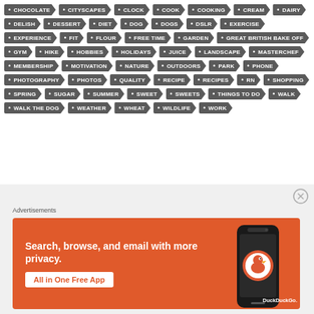CHOCOLATE • CITYSCAPES • CLOCK • COOK • COOKING • CREAM • DAIRY • DELISH • DESSERT • DIET • DOG • DOGS • DSLR • EXERCISE • EXPERIENCE • FIT • FLOUR • FREE TIME • GARDEN • GREAT BRITISH BAKE OFF • GYM • HIKE • HOBBIES • HOLIDAYS • JUICE • LANDSCAPE • MASTERCHEF • MEMBERSHIP • MOTIVATION • NATURE • OUTDOORS • PARK • PHONE • PHOTOGRAPHY • PHOTOS • QUALITY • RECIPE • RECIPES • RN • SHOPPING • SPRING • SUGAR • SUMMER • SWEET • SWEETS • THINGS TO DO • WALK • WALK THE DOG • WEATHER • WHEAT • WILDLIFE • WORK
[Figure (infographic): DuckDuckGo advertisement banner with orange background. Text reads: Search, browse, and email with more privacy. All in One Free App. Shows a smartphone with DuckDuckGo logo.]